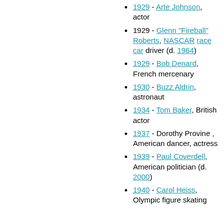1929 - Arte Johnson, actor
1929 - Glenn "Fireball" Roberts, NASCAR race car driver (d. 1964)
1929 - Bob Denard, French mercenary
1930 - Buzz Aldrin, astronaut
1934 - Tom Baker, British actor
1937 - Dorothy Provine , American dancer, actress
1939 - Paul Coverdell, American politician (d. 2000)
1940 - Carol Heiss, Olympic figure skating